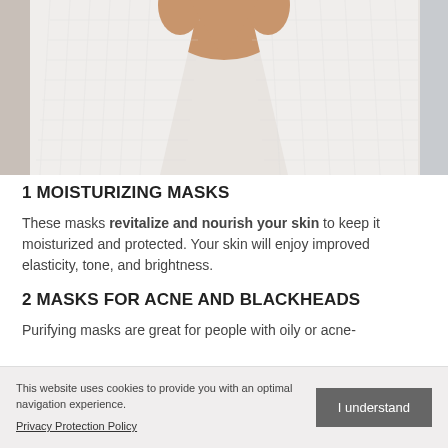[Figure (photo): Person wearing a white waffle-textured robe, cropped to show chest and hands area, blurred background]
1 MOISTURIZING MASKS
These masks revitalize and nourish your skin to keep it moisturized and protected. Your skin will enjoy improved elasticity, tone, and brightness.
2 MASKS FOR ACNE AND BLACKHEADS
Purifying masks are great for people with oily or acne-prone skin. By helping to absorb excess oil and sebum, these masks help unclog and minimize...
3 ANTIAGING MASKS
This website uses cookies to provide you with an optimal navigation experience.
Privacy Protection Policy